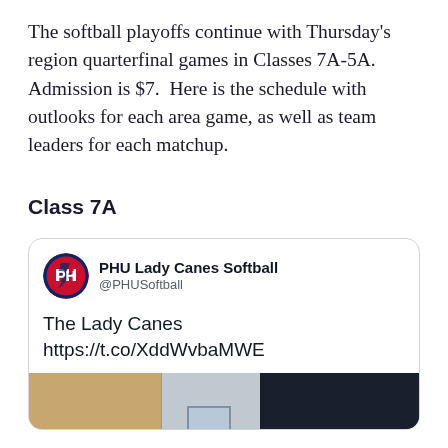The softball playoffs continue with Thursday's region quarterfinal games in Classes 7A-5A. Admission is $7. Here is the schedule with outlooks for each area game, as well as team leaders for each matchup.
Class 7A
[Figure (screenshot): Tweet card from PHU Lady Canes Softball (@PHUSoftball) with text 'The Lady Canes https://t.co/XddWvbaMWE' and a partial image of a softball field/facility.]